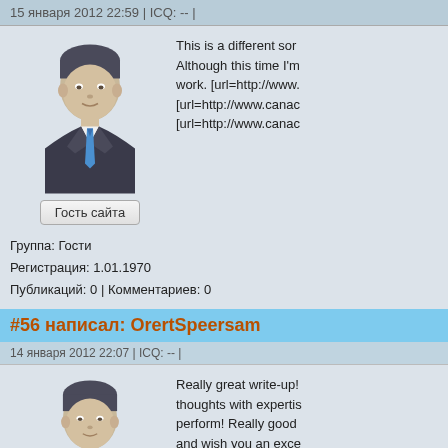15 января 2012 22:59 | ICQ: -- |
[Figure (illustration): Generic male avatar in suit with blue tie]
Гость сайта
Группа: Гости
Регистрация: 1.01.1970
Публикаций: 0 | Комментариев: 0
This is a different sort Although this time I'm work. [url=http://www. [url=http://www.canac [url=http://www.canac
#56 написал: OrertSpeersam
14 января 2012 22:07 | ICQ: -- |
[Figure (illustration): Generic male avatar in suit with blue tie]
Really great write-up! thoughts with expertis perform! Really good and wish you an exce [url=http://www.cheap